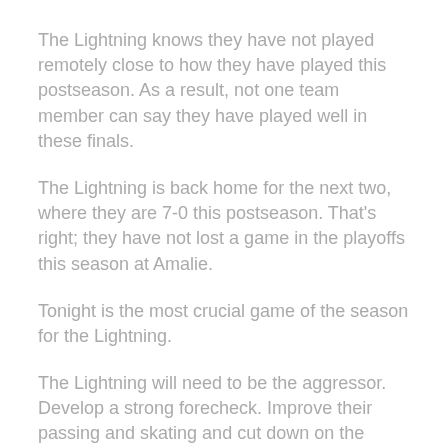The Lightning knows they have not played remotely close to how they have played this postseason. As a result, not one team member can say they have played well in these finals.
The Lightning is back home for the next two, where they are 7-0 this postseason. That's right; they have not lost a game in the playoffs this season at Amalie.
Tonight is the most crucial game of the season for the Lightning.
The Lightning will need to be the aggressor. Develop a strong forecheck. Improve their passing and skating and cut down on the turnovers.
Andrei Vasileviskiy will need to play better. In addition, Steven